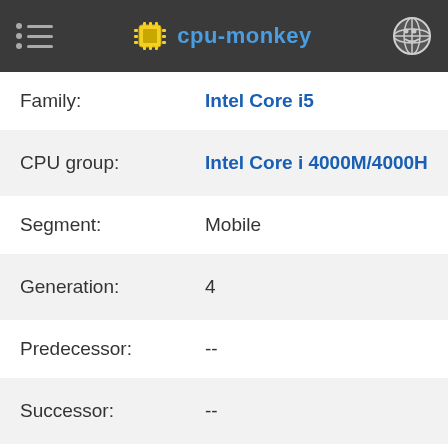cpu-monkey
| Property | Value |
| --- | --- |
| Family: | Intel Core i5 |
| CPU group: | Intel Core i 4000M/4000H |
| Segment: | Mobile |
| Generation: | 4 |
| Predecessor: | -- |
| Successor: | -- |